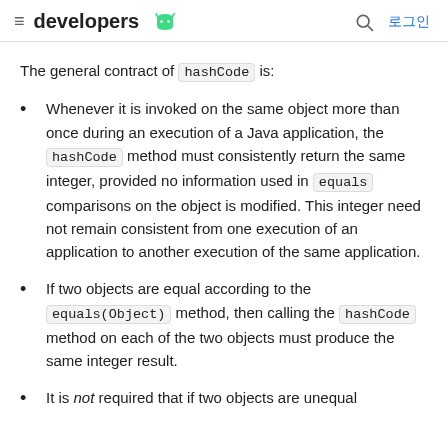developers [android icon] | 로그인
The general contract of hashCode is:
Whenever it is invoked on the same object more than once during an execution of a Java application, the hashCode method must consistently return the same integer, provided no information used in equals comparisons on the object is modified. This integer need not remain consistent from one execution of an application to another execution of the same application.
If two objects are equal according to the equals(Object) method, then calling the hashCode method on each of the two objects must produce the same integer result.
It is not required that if two objects are unequal